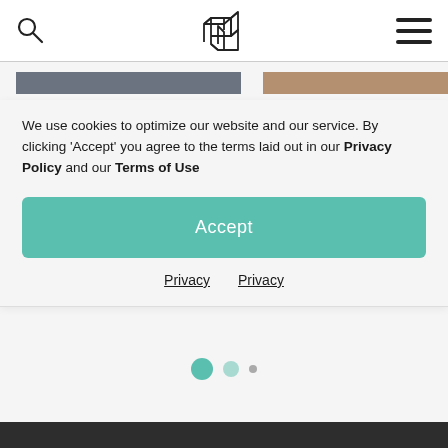[Figure (logo): Website header with search icon on the left, geometric H logo in the center, and hamburger menu icon on the right]
[Figure (infographic): Two horizontal color bars: a dark gray bar on the left and a tan/brown bar on the right]
We use cookies to optimize our website and our service. By clicking 'Accept' you agree to the terms laid out in our Privacy Policy and our Terms of Use
Accept
Privacy  Privacy
[Figure (infographic): Three pagination dots: one large teal dot, one medium faded teal dot, one small gray dot]